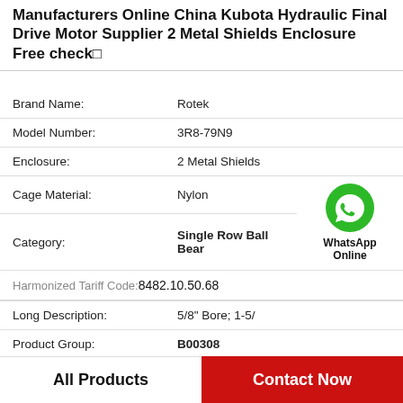Manufacturers Online China Kubota Hydraulic Final Drive Motor Supplier 2 Metal Shields Enclosure Free check□
| Field | Value |
| --- | --- |
| Brand Name: | Rotek |
| Model Number: | 3R8-79N9 |
| Enclosure: | 2 Metal Shields |
| Cage Material: | Nylon |
| Category: | Single Row Ball Bear |
| Harmonized Tariff Code: | 8482.10.50.68 |
| Long Description: | 5/8" Bore; 1-5/ |
| Product Group: | B00308 |
WhatsApp Online
All Products
Contact Now